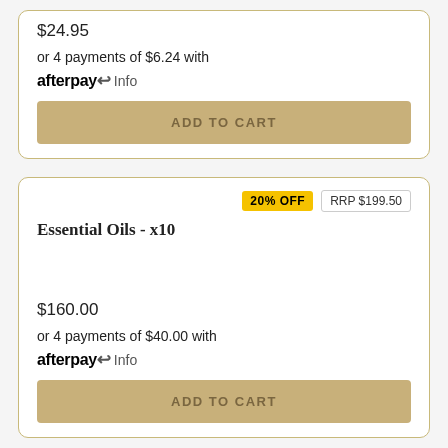$24.95
or 4 payments of $6.24 with afterpay Info
ADD TO CART
20% OFF  RRP $199.50
Essential Oils - x10
$160.00
or 4 payments of $40.00 with afterpay Info
ADD TO CART